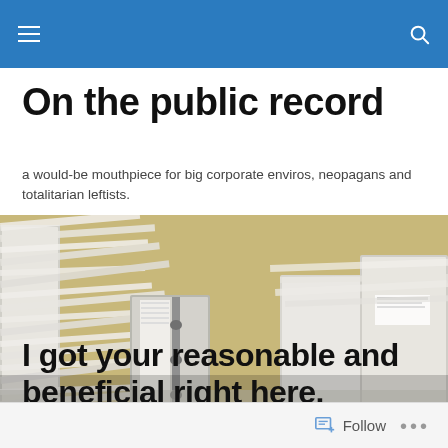On the public record — site navigation header with hamburger menu and search icon
On the public record
a would-be mouthpiece for big corporate enviros, neopagans and totalitarian leftists.
[Figure (photo): Stacked binders and files of paper documents piled on a desk, photographed from a low angle showing their spines and pages.]
I got your reasonable and beneficial right here.
Follow ...